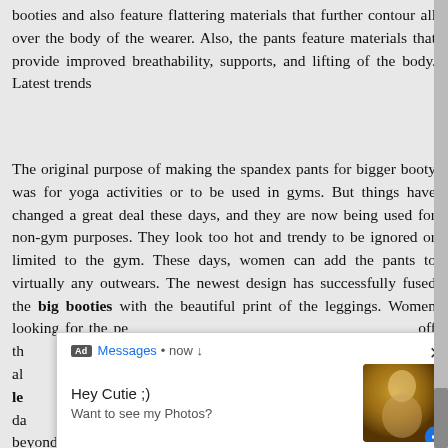booties and also feature flattering materials that further contour all over the body of the wearer. Also, the pants feature materials that provide improved breathability, supports, and lifting of the body. Latest trends
The original purpose of making the spandex pants for bigger booty was for yoga activities or to be used in gyms. But things have changed a great deal these days, and they are now being used for non-gym purposes. They look too hot and trendy to be ignored or limited to the gym. These days, women can add the pants to virtually any outwears. The newest design has successfully fused the big booties with the beautiful print of the leggings. Women looking for the perfect pair of leggings... off that... can always... enough leggings... these days... modern designs that can be used beyond the gym, making girls in yoga look even more appealing. The pants worn at the gyms and as street era made a liberated
[Figure (screenshot): A pop-up advertisement overlay showing a 'Messages • now' notification with text 'Hey Cutie ;)' and 'Want to see my Photos?' with a thumbnail image and a close (X) button.]